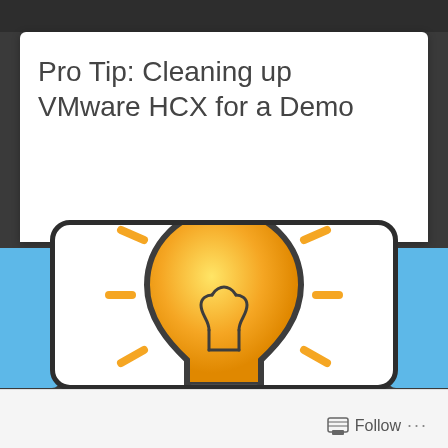Pro Tip: Cleaning up VMware HCX for a Demo
[Figure (illustration): A light bulb illustration with orange/yellow glow and radiating lines indicating brightness, inside a rounded rectangle card with black border]
Follow